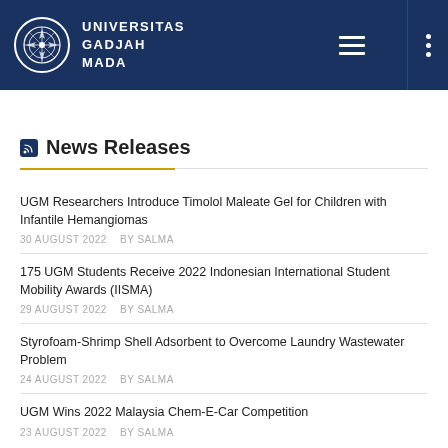UNIVERSITAS GADJAH MADA
News Releases
UGM Researchers Introduce Timolol Maleate Gel for Children with Infantile Hemangiomas
30 AUGUST 2022   BY SALMA
175 UGM Students Receive 2022 Indonesian International Student Mobility Awards (IISMA)
29 AUGUST 2022   BY SALMA
Styrofoam-Shrimp Shell Adsorbent to Overcome Laundry Wastewater Problem
24 AUGUST 2022   BY SALMA
UGM Wins 2022 Malaysia Chem-E-Car Competition
23 AUGUST 2022   BY SALMA